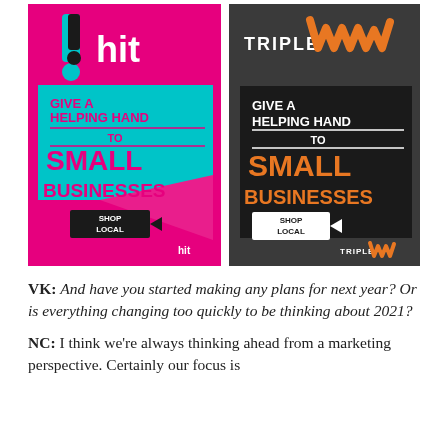[Figure (illustration): Two radio station promotional banners side by side. Left: !hit network pink/teal banner reading 'GIVE A HELPING HAND TO SMALL BUSINESSES' with 'SHOP LOCAL' sign. Right: Triple M dark/orange banner reading 'GIVE A HELPING HAND TO SMALL BUSINESSES' with 'SHOP LOCAL' sign.]
VK: And have you started making any plans for next year? Or is everything changing too quickly to be thinking about 2021?
NC: I think we're always thinking ahead from a marketing perspective. Certainly our focus is